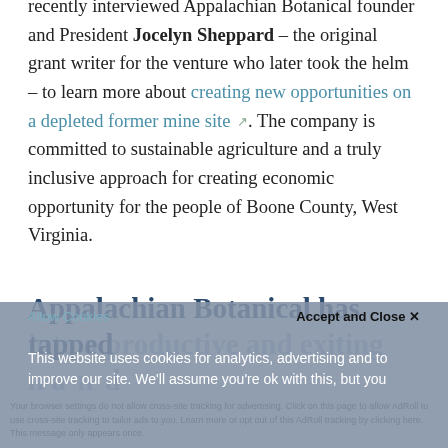recently interviewed Appalachian Botanical founder and President Jocelyn Sheppard – the original grant writer for the venture who later took the helm – to learn more about creating new opportunities on a depleted former mine site. The company is committed to sustainable agriculture and a truly inclusive approach for creating economic opportunity for the people of Boone County, West Virginia.
Appalachian Botanical has tapped into a productive and exciting
This website uses cookies for analytics, advertising and to improve our site. We'll assume you're ok with this, but you
Your browser settings do not allow cross-site tracking for advertising. Click on this page to allow AdRoll to use cross-site tracking to tailor ads to you. Learn more or opt out of this AdRoll tracking by clicking here. This message only appears once.